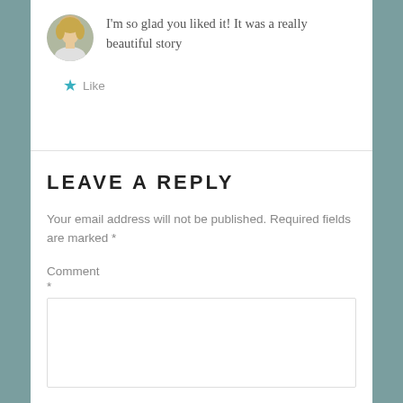I'm so glad you liked it! It was a really beautiful story
★ Like
LEAVE A REPLY
Your email address will not be published. Required fields are marked *
Comment *